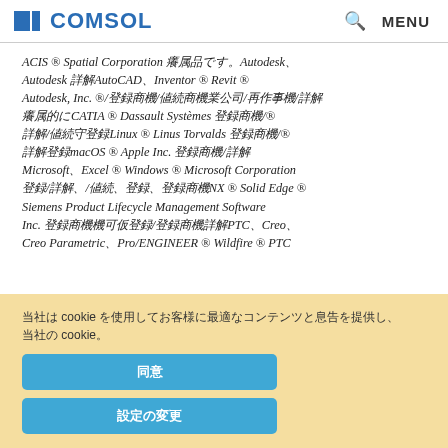COMSOL — Search, Menu
ACIS ® Spatial Corporation の商標です。Autodesk、Autodesk の製品AutoCAD、Inventor ® Revit ® Autodesk, Inc. の/登録商標/商標またはサービスマーク/その他の CATIA ® Dassault Systèmes の登録商標/サービスマーク/商標です。Linux ® Linus Torvalds の登録/サービスマーク。macOS ® Apple Inc. の商標です/登録商標。Microsoft、Excel ® Windows ® Microsoft Corporation 登録/登録商標/商標またはサービスマーク。NX ® Solid Edge ® Siemens Product Lifecycle Management Software Inc. の登録商標またはサービスマーク/登録商標です。PTC、Creo、Creo Parametric、Pro/ENGINEER ® Wildfire ® PTC
当社は cookie を使用してお客様に最適なコンテンツと広告を提供し、当社の cookie。
同意
設定の変更